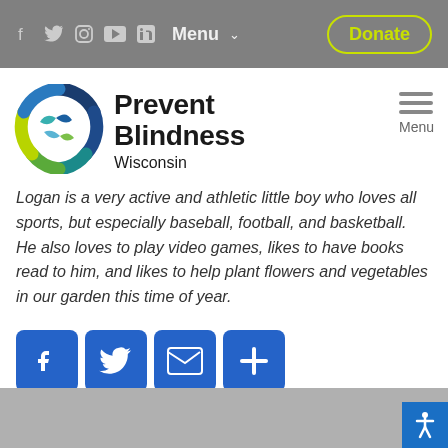Menu  Donate
[Figure (logo): Prevent Blindness Wisconsin circular logo with blue, teal, green, and yellow-green segments]
Prevent Blindness Wisconsin
Logan is a very active and athletic little boy who loves all sports, but especially baseball, football, and basketball.  He also loves to play video games, likes to have books read to him, and likes to help plant flowers and vegetables in our garden this time of year.
[Figure (infographic): Four blue social sharing buttons: Facebook, Twitter, Email, and More (+)]